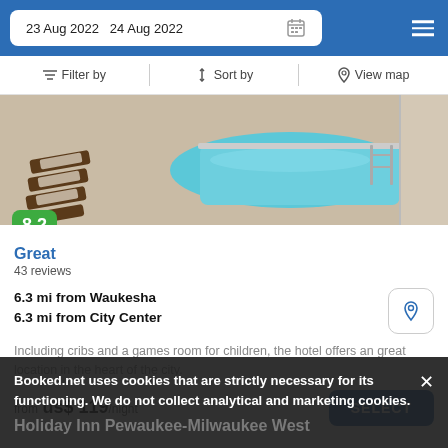23 Aug 2022  24 Aug 2022
Filter by   Sort by   View map
[Figure (photo): Hotel swimming pool area with lounge chairs and blue pool water, outdoor patio setting. Rating badge showing 8.2 in green.]
Great
43 reviews
6.3 mi from Waukesha
6.3 mi from City Center
Including cribs and a games room for children, the hotel offers an great location in the heart of the city.
from  us$ 119/night
SELECT
Booked.net uses cookies that are strictly necessary for its functioning. We do not collect analytical and marketing cookies.
Holiday Inn Pewaukee-Milwaukee West